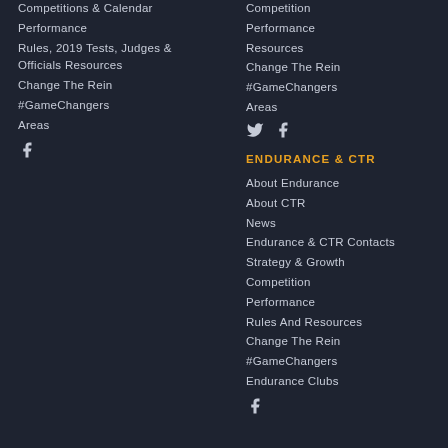Competitions & Calendar
Performance
Rules, 2019 Tests, Judges & Officials Resources
Change The Rein
#GameChangers
Areas
Competition
Performance
Resources
Change The Rein
#GameChangers
Areas
ENDURANCE & CTR
About Endurance
About CTR
News
Endurance & CTR Contacts
Strategy & Growth
Competition
Performance
Rules And Resources
Change The Rein
#GameChangers
Endurance Clubs